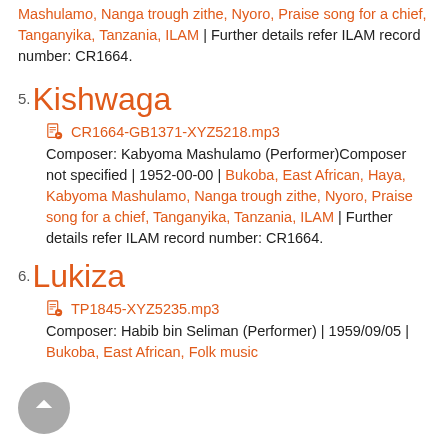Mashulamo, Nanga trough zithe, Nyoro, Praise song for a chief, Tanganyika, Tanzania, ILAM | Further details refer ILAM record number: CR1664.
5. Kishwaga
CR1664-GB1371-XYZ5218.mp3
Composer: Kabyoma Mashulamo (Performer)Composer not specified | 1952-00-00 | Bukoba, East African, Haya, Kabyoma Mashulamo, Nanga trough zithe, Nyoro, Praise song for a chief, Tanganyika, Tanzania, ILAM | Further details refer ILAM record number: CR1664.
6. Lukiza
TP1845-XYZ5235.mp3
Composer: Habib bin Seliman (Performer) | 1959/09/05 | Bukoba, East African, Folk music...